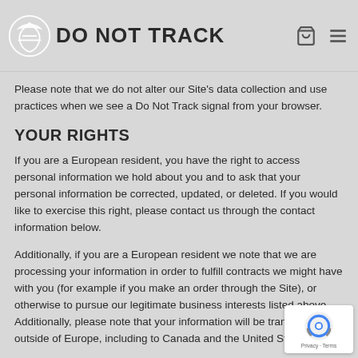DO NOT TRACK
Please note that we do not alter our Site's data collection and use practices when we see a Do Not Track signal from your browser.
YOUR RIGHTS
If you are a European resident, you have the right to access personal information we hold about you and to ask that your personal information be corrected, updated, or deleted. If you would like to exercise this right, please contact us through the contact information below.
Additionally, if you are a European resident we note that we are processing your information in order to fulfill contracts we might have with you (for example if you make an order through the Site), or otherwise to pursue our legitimate business interests listed above. Additionally, please note that your information will be transferred outside of Europe, including to Canada and the United States.